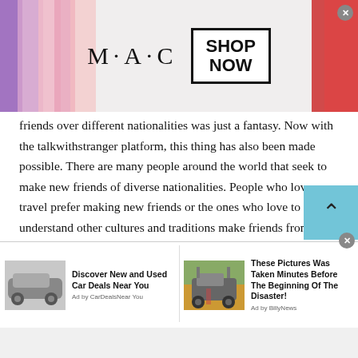[Figure (screenshot): MAC cosmetics advertisement banner with lipsticks on left and right sides, MAC logo in center, and 'SHOP NOW' button in a box]
friends over different nationalities was just a fantasy. Now with the talkwithstranger platform, this thing has also been made possible. There are many people around the world that seek to make new friends of diverse nationalities. People who love travel prefer making new friends or the ones who love to understand other cultures and traditions make friends from different countries. Talkwithstranger works in a very different way in contrast to Czech chat sites. Here, there is a
[Figure (screenshot): Bottom advertisement bar with two ads: 'Discover New and Used Car Deals Near You' by CarDealsNear You, and 'These Pictures Was Taken Minutes Before The Beginning Of The Disaster!' by BillyNews]